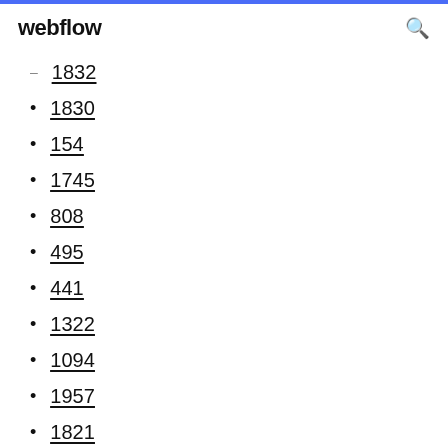webflow
1832
1830
154
1745
808
495
441
1322
1094
1957
1821
1854
368